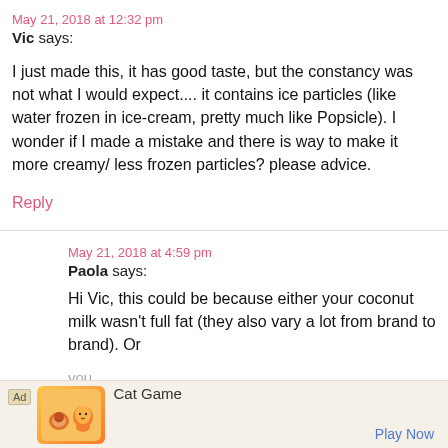May 21, 2018 at 12:32 pm
Vic says:
I just made this, it has good taste, but the constancy was not what I would expect.... it contains ice particles (like water frozen in ice-cream, pretty much like Popsicle). I wonder if I made a mistake and there is way to make it more creamy/ less frozen particles? please advice.
Reply
May 21, 2018 at 4:59 pm
Paola says:
Hi Vic, this could be because either your coconut milk wasn't full fat (they also vary a lot from brand to brand). Or
you... Hop...
[Figure (other): Advertisement banner for Cat Game mobile app with animal cartoon icons, Ad label, and Play Now button]